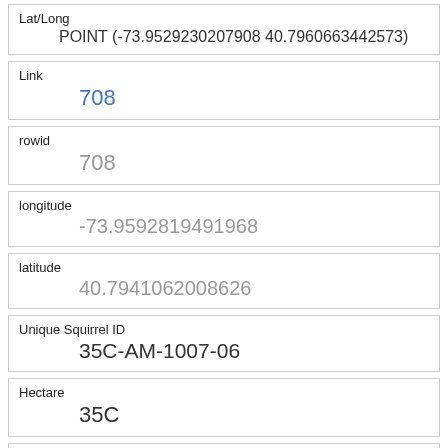| Field | Value |
| --- | --- |
| Lat/Long | POINT (-73.9529230207908 40.7960663442573) |
| Link | 708 |
| rowid | 708 |
| longitude | -73.9592819491968 |
| latitude | 40.7941062008626 |
| Unique Squirrel ID | 35C-AM-1007-06 |
| Hectare | 35C |
| Shift | AM |
| Date | 10072018 |
| Hectare Squirrel Number | 6 |